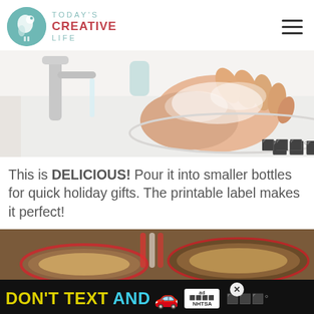TODAY'S CREATIVE LIFE
[Figure (photo): Person washing hands with soap and water at a white sink with a chrome faucet]
This is DELICIOUS! Pour it into smaller bottles for quick holiday gifts. The printable label makes it perfect!
[Figure (photo): Close-up of holiday themed items, plates with red accents]
[Figure (other): Ad banner: DON'T TEXT AND [car emoji] with NHTSA logo]